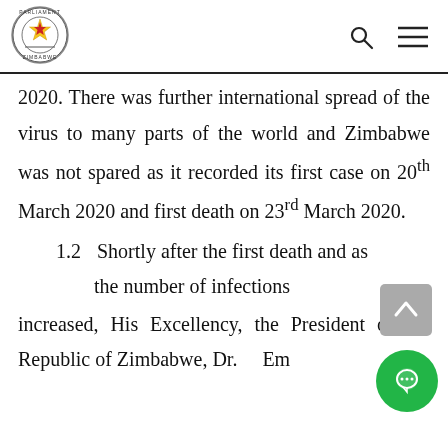Parliament of Zimbabwe logo, search icon, menu icon
2020. There was further international spread of the virus to many parts of the world and Zimbabwe was not spared as it recorded its first case on 20th March 2020 and first death on 23rd March 2020.
1.2    Shortly after the first death and as the number of infections increased, His Excellency, the President of the Republic of Zimbabwe, Dr. Emm...n